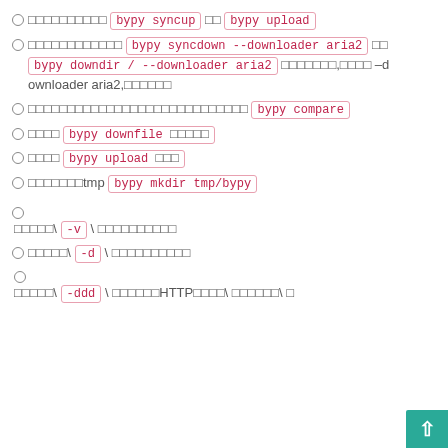□□□□□□□□□□ bypy syncup □□ bypy upload
□□□□□□□□□□□□ bypy syncdown --downloader aria2 □□ bypy downdir / --downloader aria2 □□□□□□□,□□□□ –downloader aria2,□□□□□□
□□□□□□□□□□□□□□□□□□□□□□□□□□□□ bypy compare
□□□□ bypy downfile □□□□□
□□□□ bypy upload □□□
□□□□□□□tmp bypy mkdir tmp/bypy
□□□□□\ -v \ □□□□□□□□□□
□□□□□\ -d \ □□□□□□□□□□
□□□□□\ -ddd \ □□□□□□HTTP□□□□\ □□□□□□\ □